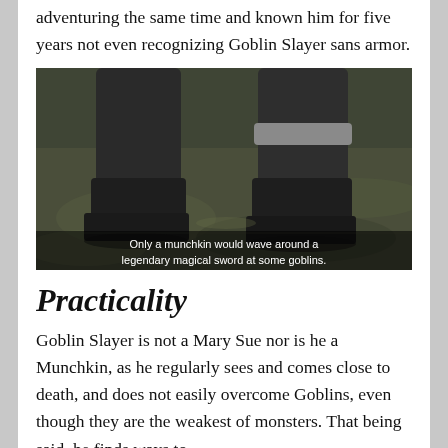adventuring the same time and known him for five years not even recognizing Goblin Slayer sans armor.
[Figure (screenshot): Anime screenshot showing armored boots/feet on a ground surface, with subtitle text: 'Only a munchkin would wave around a legendary magical sword at some goblins.']
Practicality
Goblin Slayer is not a Mary Sue nor is he a Munchkin, as he regularly sees and comes close to death, and does not easily overcome Goblins, even though they are the weakest of monsters. That being said, he finds ways to